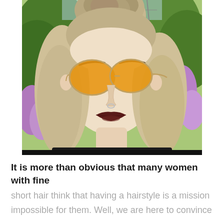[Figure (photo): Close-up photo of a young woman with blonde messy bun updo hairstyle wearing orange-tinted aviator sunglasses with a silver frame, dark maroon lipstick, and a nose ring/septum piercing. She is wearing a black top. Background shows green foliage and purple flowers (bokeh).]
It is more than obvious that many women with fine short hair think that having a hairstyle is a mission impossible for them. Well, we are here to convince